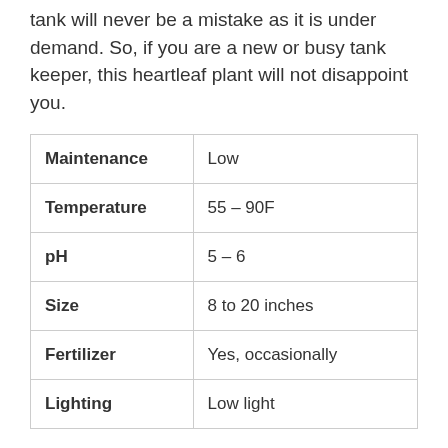tank will never be a mistake as it is under demand. So, if you are a new or busy tank keeper, this heartleaf plant will not disappoint you.
| Maintenance | Low |
| Temperature | 55 – 90F |
| pH | 5 – 6 |
| Size | 8 to 20 inches |
| Fertilizer | Yes, occasionally |
| Lighting | Low light |
#5 Snake Plant